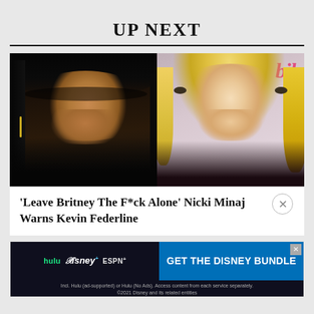UP NEXT
[Figure (photo): Side-by-side photos of two women: left shows a dark-haired woman looking sideways (Nicki Minaj), right shows a blonde woman smiling (Britney Spears) with partial magazine text 'bile' visible in top-right corner]
‘Leave Britney The F*ck Alone’ Nicki Minaj Warns Kevin Federline
[Figure (infographic): Disney Bundle advertisement banner showing Hulu, Disney+, and ESPN+ logos on dark background with blue 'GET THE DISNEY BUNDLE' call-to-action. Footer text: Incl. Hulu (ad-supported) or Hulu (No Ads). Access content from each service separately. ©2021 Disney and its related entities]